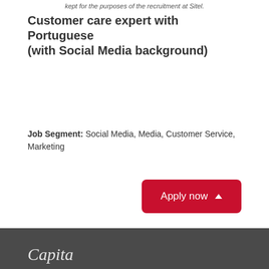kept for the purposes of the recruitment at Sitel.
Customer care expert with Portuguese (with Social Media background)
Job Segment: Social Media, Media, Customer Service, Marketing
Apply now ▲
Find similar jobs:
Search Jobs - Bulgarian,  Jobs Main Page,  Jobs in Sofia,
Customer Service Quality Assurance Jobs
Capita